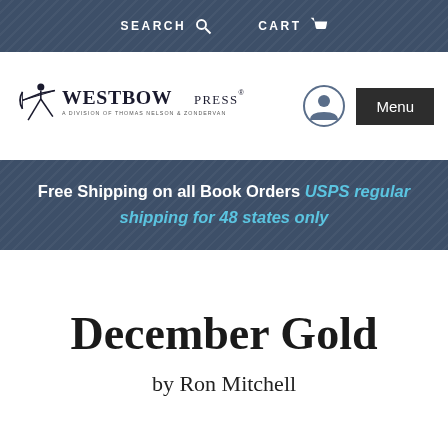SEARCH  CART
[Figure (logo): WestBow Press logo — archer figure with 'WESTBOW PRESS' text and subtitle 'A Division of Thomas Nelson & Zondervan']
Free Shipping on all Book Orders USPS regular shipping for 48 states only
December Gold
by Ron Mitchell